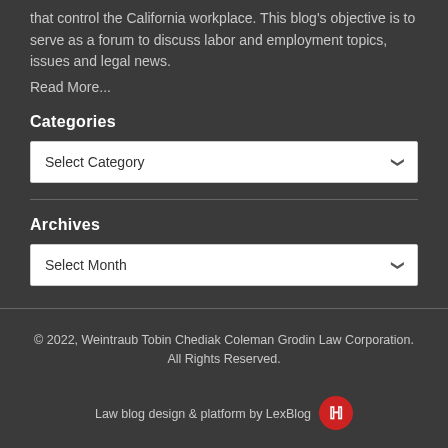that control the California workplace. This blog's objective is to serve as a forum to discuss labor and employment topics, issues and legal news.
Read More...
Categories
Select Category
Archives
Select Month
© 2022, Weintraub Tobin Chediak Coleman Grodin Law Corporation. All Rights Reserved.
Law blog design & platform by LexBlog